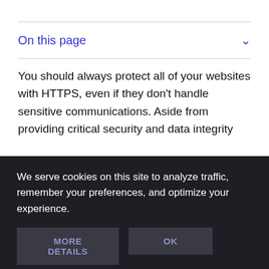On this page
You should always protect all of your websites with HTTPS, even if they don't handle sensitive communications. Aside from providing critical security and data integrity
We serve cookies on this site to analyze traffic, remember your preferences, and optimize your experience.
MORE DETAILS
OK